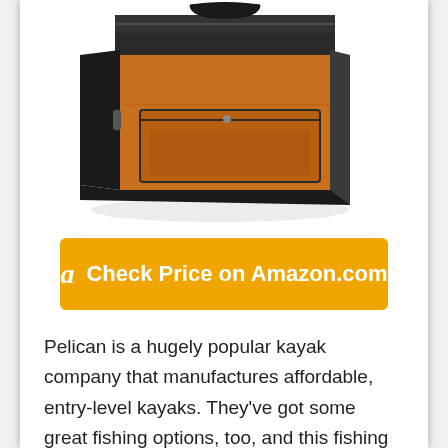[Figure (photo): An orange and black fishing bag/tackle bag product photo, shown at an angle, with multiple compartments and pockets visible]
Check Price on Amazon.com
Pelican is a hugely popular kayak company that manufactures affordable, entry-level kayaks. They've got some great fishing options, too, and this fishing bag has been designed for use with a milk crate to sit in the